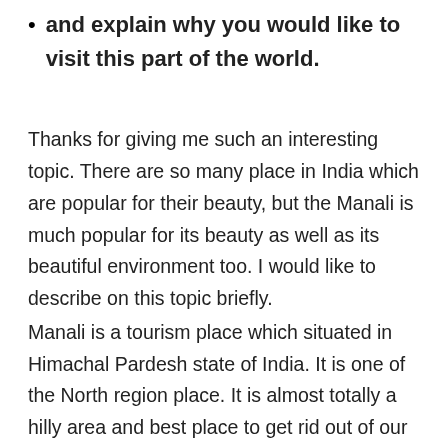and explain why you would like to visit this part of the world.
Thanks for giving me such an interesting topic. There are so many place in India which are popular for their beauty, but the Manali is much popular for its beauty as well as its beautiful environment too. I would like to describe on this topic briefly.
Manali is a tourism place which situated in Himachal Pardesh state of India. It is one of the North region place. It is almost totally a hilly area and best place to get rid out of our depression. Some years ago, it was totally a hilly area, but nowadays, people have built residential and